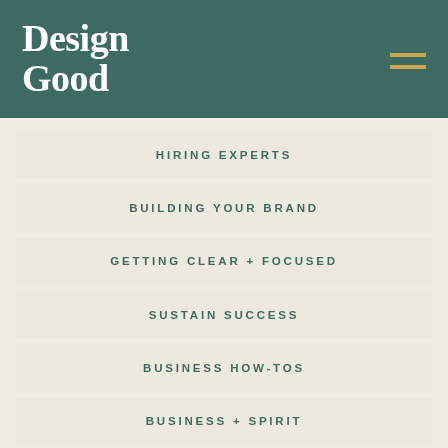Design Good
HIRING EXPERTS
BUILDING YOUR BRAND
GETTING CLEAR + FOCUSED
SUSTAIN SUCCESS
BUSINESS HOW-TOS
BUSINESS + SPIRIT